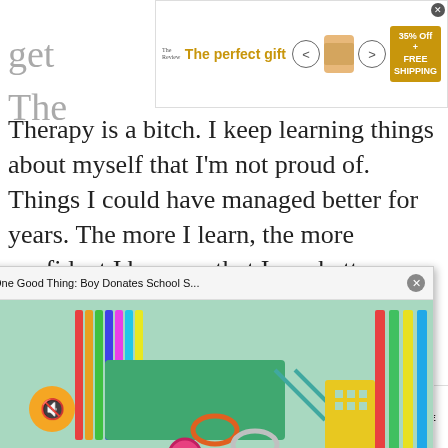[Figure (screenshot): Top banner advertisement for 'The perfect gift' showing product carousel with arrows, bowl product image, and yellow/gold '35% Off + FREE SHIPPING' box with X close button]
Therapy is a bitch. I keep learning things about myself that I'm not proud of. Things I could have managed better for years. The more I learn, the more confident I become that I can better myself.
How long did you take to decide that you were ready to end...
I decided the nigh... hours for me to fi...
[Figure (screenshot): Video popup overlay showing 'One Good Thing: Boy Donates School S...' with colorful school supplies thumbnail image and muted speaker icon button]
[Figure (photo): Blue dark navy rectangle ad block]
[Figure (screenshot): Porsche advertisement at bottom showing 'The new 911. Ever ahead. LEARN MORE' with car photo on left and Porsche logo on right]